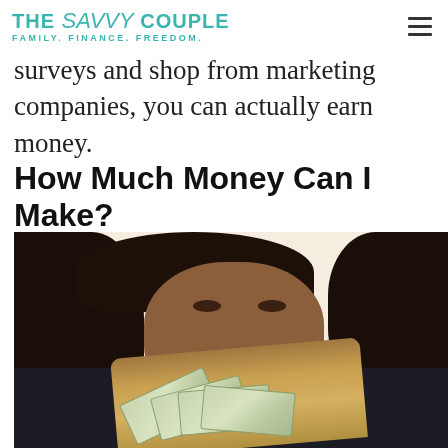THE SAVVY COUPLE — FAMILY. FINANCE. FREEDOM.
surveys and shop from marketing companies, you can actually earn money.
How Much Money Can I Make?
[Figure (photo): A woman with curly hair holding a fan of US dollar bills in front of her face, looking upward with a thinking expression, wearing a dark blazer.]